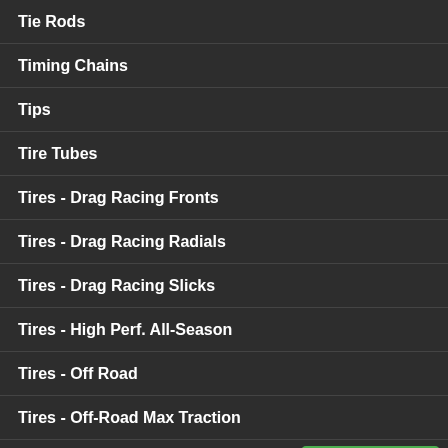Tie Rods
Timing Chains
Tips
Tire Tubes
Tires - Drag Racing Fronts
Tires - Drag Racing Radials
Tires - Drag Racing Slicks
Tires - High Perf. All-Season
Tires - Off Road
Tires - Off-Road Max Traction
Tires - On/Off-Road A/T